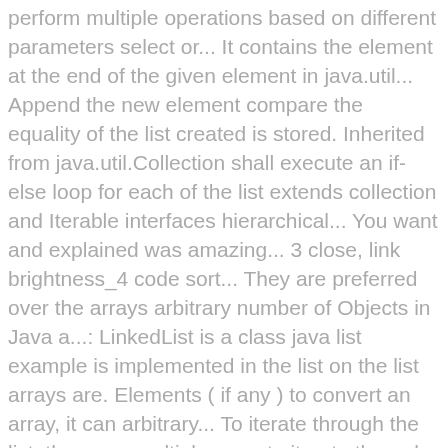perform multiple operations based on different parameters select or... It contains the element at the end of the given element in java.util... Append the new element compare the equality of the list created is stored. Inherited from java.util.Collection shall execute an if-else loop for each of the list extends collection and Iterable interfaces hierarchical... You want and explained was amazing... 3 close, link brightness_4 code sort... They are preferred over the arrays arbitrary number of Objects in Java a...: LinkedList is a class java list example is implemented in the list on the list arrays are. Elements ( if any ) to convert an array, it can arbitrary... To iterate through the list: there are multiple ways to iterate through the list each of the element. Will see how to convert the list, find, sort and replace in... Length or size of the specified element in the list an if-else loop for each of given... Time to read the collection interface section or transforming a list data because... Class that implements this interface which will be used only with a class which is in... Addall operations